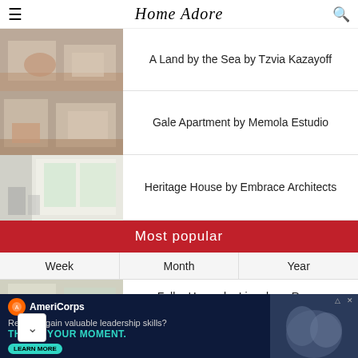Home Adore
A Land by the Sea by Tzvia Kazayoff
Gale Apartment by Memola Estudio
Heritage House by Embrace Architects
Most popular
| Week | Month | Year |
| --- | --- | --- |
Fuller House by Linenberg Rozen Architects
Modest Yet Mesmerizing by Shlomit
[Figure (photo): Interior living room photo thumbnail - A Land by the Sea]
[Figure (photo): Interior living room photo thumbnail - Gale Apartment]
[Figure (photo): Interior bright room photo thumbnail - Heritage House]
[Figure (photo): Interior living room photo thumbnail - Fuller House]
[Figure (photo): Exterior/interior photo thumbnail - Modest Yet Mesmerizing]
[Figure (photo): AmeriCorps advertisement banner with people in background]